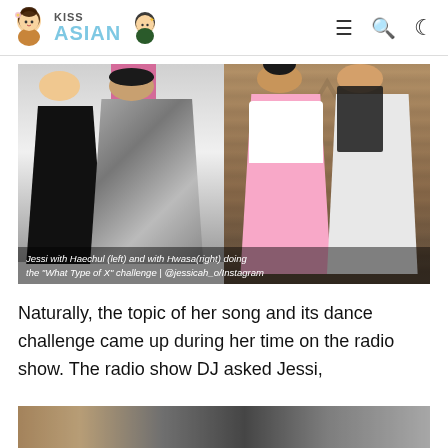KISS ASIAN
[Figure (photo): Split photo showing Jessi with Haechul (left) doing the What Type of X dance challenge in a studio with pink wall, and Jessi with Hwasa (right) doing the same challenge in a wood-paneled room. Caption: Jessi with Haechul (left) and with Hwasa(right) doing the "What Type of X" challenge | @jessicah_o/Instagram]
Naturally, the topic of her song and its dance challenge came up during her time on the radio show. The radio show DJ asked Jessi,
[Figure (photo): Partial bottom strip of another photo, partially cut off at bottom of page]